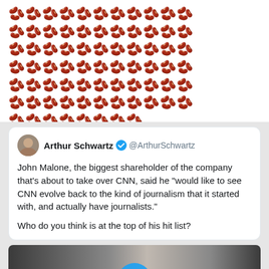[Figure (illustration): Large grid of kidney bean / ear emoji repeated many times filling the top section of the page]
Arthur Schwartz @ArthurSchwartz
John Malone, the biggest shareholder of the company that's about to take over CNN, said he "would like to see CNN evolve back to the kind of journalism that it started with, and actually have journalists."

Who do you think is at the top of his hit list?
[Figure (photo): Video thumbnail showing an elderly white-haired man sitting in front of bookshelves, with a blue play button overlay]